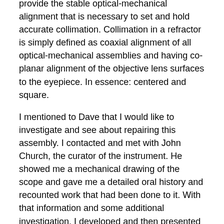provide the stable optical-mechanical alignment that is necessary to set and hold accurate collimation. Collimation in a refractor is simply defined as coaxial alignment of all optical-mechanical assemblies and having co-planar alignment of the objective lens surfaces to the eyepiece. In essence: centered and square.
I mentioned to Dave that I would like to investigate and see about repairing this assembly. I contacted and met with John Church, the curator of the instrument. He showed me a mechanical drawing of the scope and gave me a detailed oral history and recounted work that had been done to it. With that information and some additional investigation, I developed and then presented my plan at the October AAAP board meeting to seek approval to proceed with a repair. Approval was granted and on Nov 20th I began.